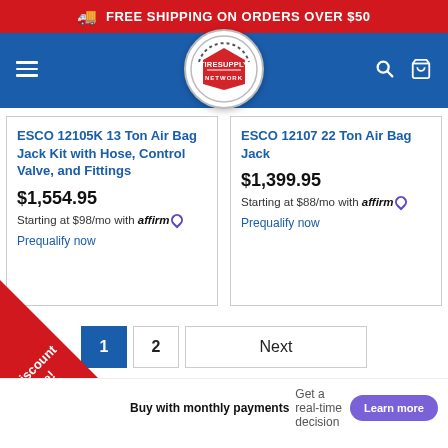FREE SHIPPING ON ORDERS OVER $50
[Figure (logo): Tire Supply Network logo with red badge and circular border]
ESCO 12105K 13 Ton Air Bag Jack Kit with Hose, Control Valve, and Fittings
$1,554.95
Starting at $98/mo with affirm.
Prequalify now
ESCO 12107 22 Ton Air Bag Jack
$1,399.95
Starting at $88/mo with affirm.
Prequalify now
1  2  Next
Discount Code!
Buy with monthly payments  Get a real-time decision  Learn more